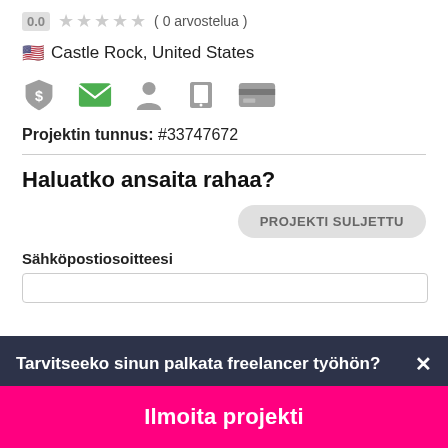0.0  ★★★★★ ( 0 arvostelua )
🇺🇸 Castle Rock, United States
[Figure (infographic): Row of five icons: shield with dollar sign (gray), envelope (green), person silhouette (gray), phone (gray), credit card (gray)]
Projektin tunnus: #33747672
Haluatko ansaita rahaa?
PROJEKTI SULJETTU
Sähköpostiosoitteesi
Tarvitseeko sinun palkata freelancer työhön?
Ilmoita projekti